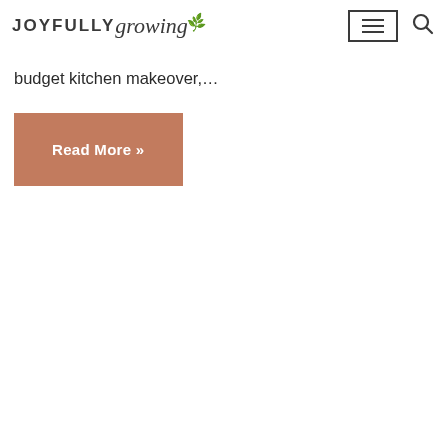JOYFULLY growing
budget kitchen makeover,…
Read More »